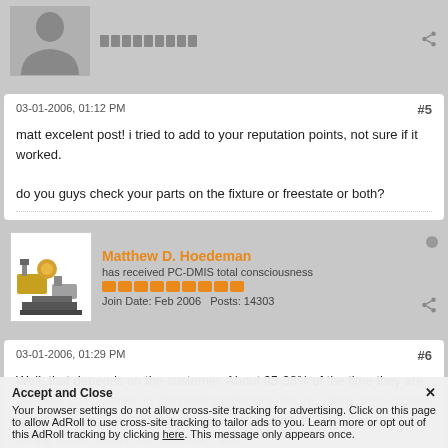[Figure (illustration): Generic user avatar placeholder (grey silhouette)]
03-01-2006, 01:12 PM
#5
matt excelent post! i tried to add to your reputation points, not sure if it worked.

do you guys check your parts on the fixture or freestate or both?
[Figure (photo): Matthew D. Hoedeman avatar - CMM machine image]
Matthew D. Hoedeman
has received PC-DMIS total consciousness
Join Date: Feb 2006    Posts: 14303
03-01-2006, 01:29 PM
#6
Well, that depends on the customer. About 95-98% of the time they are checked constrained on the holding/checking fixture. Once the customer wants to know how something checks in a freestate... two point contact on the datum fixture, no road map, and
Accept and Close ✕
Your browser settings do not allow cross-site tracking for advertising. Click on this page to allow AdRoll to use cross-site tracking to tailor ads to you. Learn more or opt out of this AdRoll tracking by clicking here. This message only appears once.